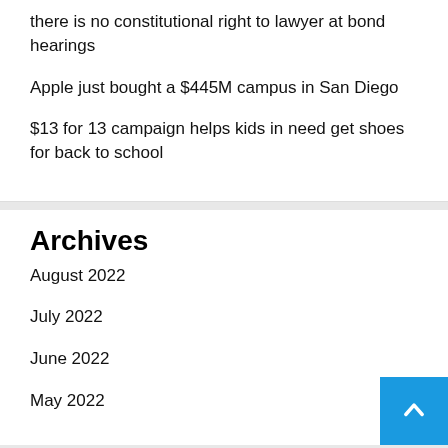there is no constitutional right to lawyer at bond hearings
Apple just bought a $445M campus in San Diego
$13 for 13 campaign helps kids in need get shoes for back to school
Archives
August 2022
July 2022
June 2022
May 2022